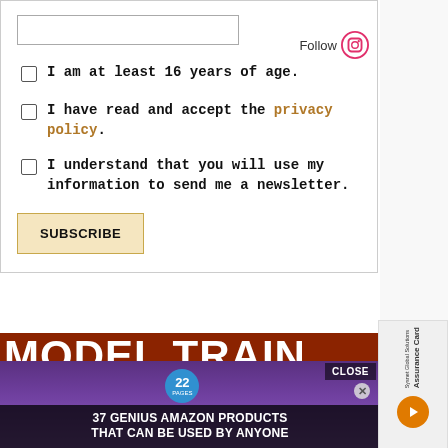[Figure (screenshot): Form input field (empty text box)]
Follow
I am at least 16 years of age.
I have read and accept the privacy policy.
I understand that you will use my information to send me a newsletter.
SUBSCRIBE
[Figure (screenshot): Advertisement banner: MODEL TRAINS with overlay ad '37 GENIUS AMAZON PRODUCTS THAT CAN BE USED BY ANYONE' and CLOSE button, showing purple headphones]
[Figure (other): Sidebar advertisement: Sysnet Global Solutions Assurance Card with orange arrow button]